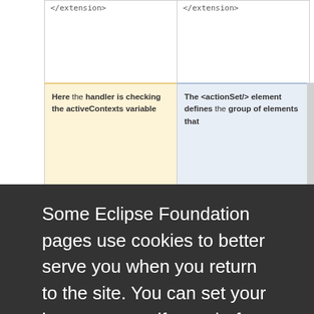</extension>
</extension>
Here the handler is checking the activeContexts variable
The <actionSet/> element defines the group of elements that
Some Eclipse Foundation pages use cookies to better serve you when you return to the site. You can set your browser to notify you before you receive a cookie or turn off cookies. If you do so, however, some areas of some sites may not function properly. To read Eclipse Foundation Privacy Policy click here.
Decline
Allow cookies